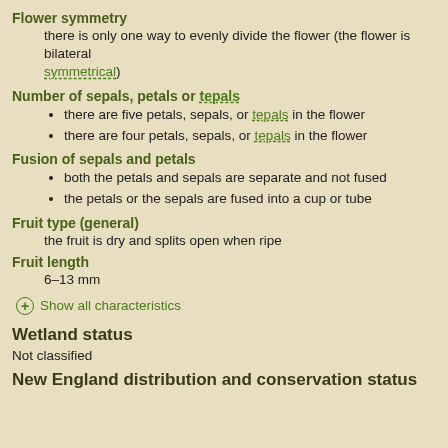Flower symmetry
there is only one way to evenly divide the flower (the flower is bilaterally symmetrical)
Number of sepals, petals or tepals
there are five petals, sepals, or tepals in the flower
there are four petals, sepals, or tepals in the flower
Fusion of sepals and petals
both the petals and sepals are separate and not fused
the petals or the sepals are fused into a cup or tube
Fruit type (general)
the fruit is dry and splits open when ripe
Fruit length
6–13 mm
Show all characteristics
Wetland status
Not classified
New England distribution and conservation status